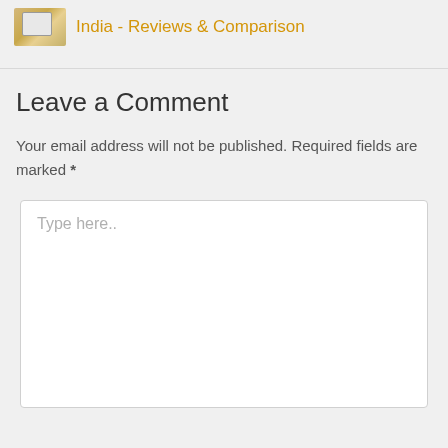India - Reviews & Comparison
Leave a Comment
Your email address will not be published. Required fields are marked *
Type here..